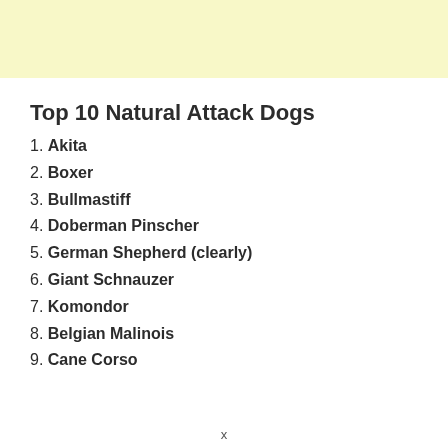Top 10 Natural Attack Dogs
1. Akita
2. Boxer
3. Bullmastiff
4. Doberman Pinscher
5. German Shepherd (clearly)
6. Giant Schnauzer
7. Komondor
8. Belgian Malinois
9. Cane Corso